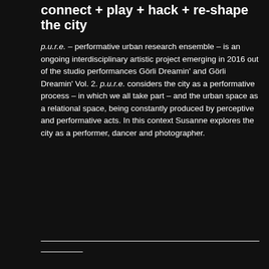connect + play + hack + re-shape the city
p.u.r.e. – performative urban research ensemble – is an ongoing interdisciplinary artistic project emerging in 2016 out of the studio performances Görli Dreamin' and Görli Dreamin' Vol. 2. p.u.r.e. considers the city as a performative process – in which we all take part – and the urban space as a relational space, being constantly produced by perceptive and performative acts. In this context Susanne explores the city as a performer, dancer and photographer.